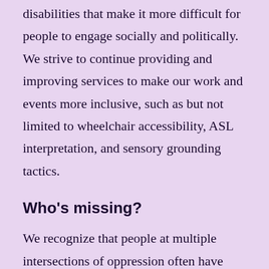disabilities that make it more difficult for people to engage socially and politically. We strive to continue providing and improving services to make our work and events more inclusive, such as but not limited to wheelchair accessibility, ASL interpretation, and sensory grounding tactics.
Who's missing?
We recognize that people at multiple intersections of oppression often have their stories co-opted or erased. We acknowledge the right of all people to document their own history and fight for their own liberation, and we are always in the process of...